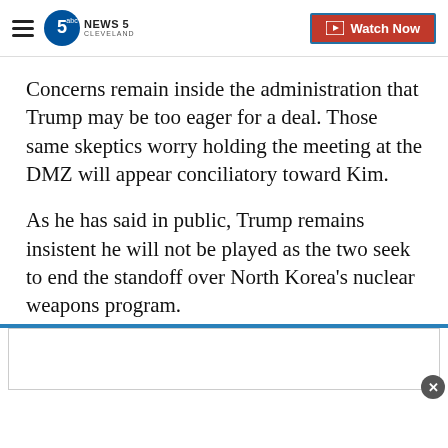NEWS 5 CLEVELAND — Watch Now
Concerns remain inside the administration that Trump may be too eager for a deal. Those same skeptics worry holding the meeting at the DMZ will appear conciliatory toward Kim.
As he has said in public, Trump remains insistent he will not be played as the two seek to end the standoff over North Korea's nuclear weapons program.
Copyright 2018 Cable News Network, Inc., a Time Warner Company. All rights reserved.
[Figure (other): Advertisement banner at bottom of page with blue top border and close button]